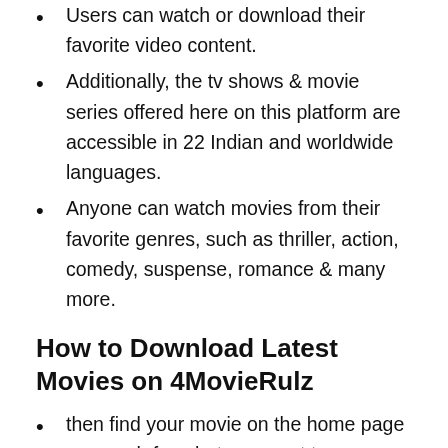Users can watch or download their favorite video content.
Additionally, the tv shows & movie series offered here on this platform are accessible in 22 Indian and worldwide languages.
Anyone can watch movies from their favorite genres, such as thriller, action, comedy, suspense, romance & many more.
How to Download Latest Movies on 4MovieRulz
then find your movie on the home page or search for what you want to Download